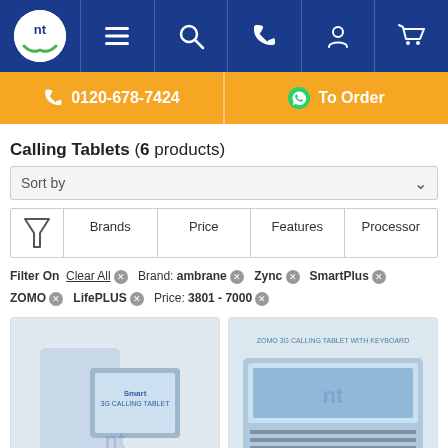[Figure (screenshot): E-commerce website navigation bar with logo, menu, search, phone, account, and cart icons on dark blue background]
[Figure (infographic): Orange banner with phone number 0120-678-7424 and WhatsApp To Order button]
Calling Tablets (6 products)
Sort by
Brands | Price | Features | Processor
Filter On  Clear All  Brand: ambrane  Zync  SmartPlus  ZOMO  LifePLUS  Price: 3801 - 7000
[Figure (photo): Smart Tab 3G Calling Tablet product image showing a woman with a tablet]
Smart Tab 3G Calling Tablet
[Figure (photo): ZOMO 3G Calling Tablet with Keyboard product image]
ZOMO 3G Calling Tablet with K...